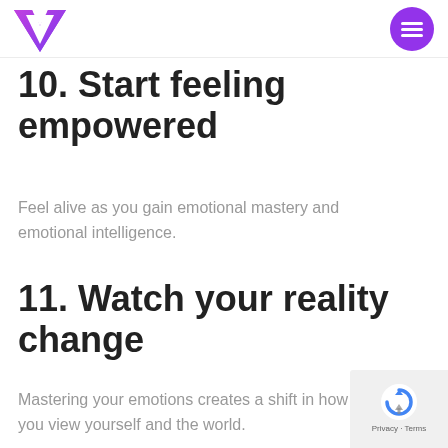10. Start feeling empowered
Feel alive as you gain emotional mastery and emotional intelligence.
11. Watch your reality change
Mastering your emotions creates a shift in how you view yourself and the world.
[Figure (logo): Vultr V-shaped logo in purple/violet]
[Figure (other): Purple circle with hamburger menu icon (three horizontal white lines)]
[Figure (other): reCAPTCHA privacy badge with blue logo and up arrow, Privacy and Terms text]